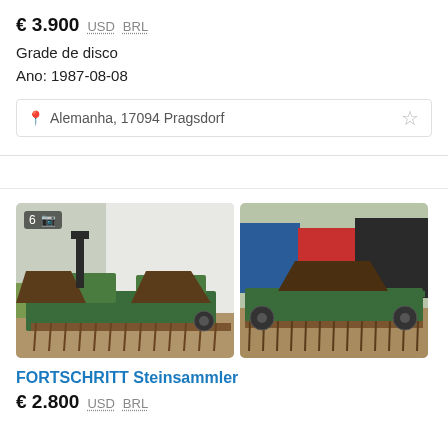€ 3.900  USD  BRL
Grade de disco
Ano: 1987-08-08
Alemanha, 17094 Pragsdorf
[Figure (photo): Two photos of a Fortschritt Steinsammler (stone collector) agricultural machine, green colored, parked on dirt ground with trucks and buildings in background. First image has a badge showing '6' photos.]
FORTSCHRITT Steinsammler
€ 2.800  USD  BRL